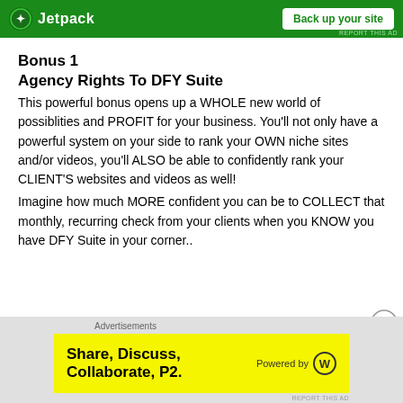[Figure (screenshot): Jetpack advertisement banner — green background with Jetpack logo and 'Back up your site' button]
Bonus 1
Agency Rights To DFY Suite
This powerful bonus opens up a WHOLE new world of possiblities and PROFIT for your business. You'll not only have a powerful system on your side to rank your OWN niche sites and/or videos, you'll ALSO be able to confidently rank your CLIENT'S websites and videos as well!
Imagine how much MORE confident you can be to COLLECT that monthly, recurring check from your clients when you KNOW you have DFY Suite in your corner..
[Figure (screenshot): Advertisement banner — yellow background with 'Share, Discuss, Collaborate, P2.' text and WordPress powered by logo]